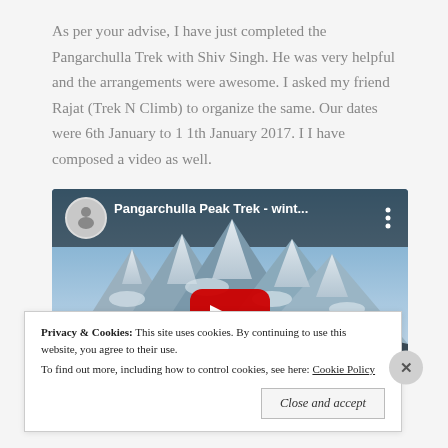As per your advise, I have just completed the Pangarchulla Trek with Shiv Singh. He was very helpful and the arrangements were awesome. I asked my friend Rajat (Trek N Climb) to organize the same. Our dates were 6th January to 11th January 2017. I I have composed a video as well.
[Figure (screenshot): YouTube video embed showing 'Pangarchulla Peak Trek - wint...' with snowy mountain background, circular avatar thumbnail, YouTube play button, and vertical dots menu icon]
Privacy & Cookies: This site uses cookies. By continuing to use this website, you agree to their use. To find out more, including how to control cookies, see here: Cookie Policy